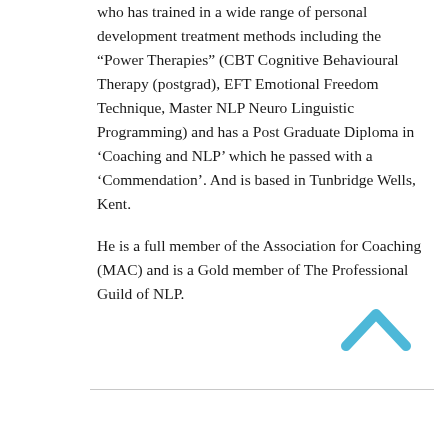who has trained in a wide range of personal development treatment methods including the “Power Therapies” (CBT Cognitive Behavioural Therapy (postgrad), EFT Emotional Freedom Technique, Master NLP Neuro Linguistic Programming) and has a Post Graduate Diploma in ‘Coaching and NLP’ which he passed with a ‘Commendation’. And is based in Tunbridge Wells, Kent.
He is a full member of the Association for Coaching (MAC) and is a Gold member of The Professional Guild of NLP.
[Figure (other): A blue upward-pointing chevron/caret arrow icon used for scrolling to top]